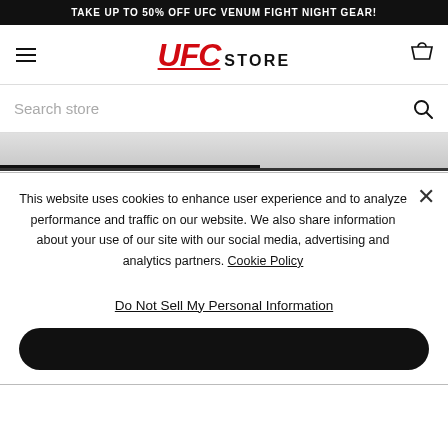TAKE UP TO 50% OFF UFC VENUM FIGHT NIGHT GEAR!
[Figure (logo): UFC STORE logo with red italic UFC text and bold STORE text]
Search store
[Figure (photo): Hero product image area, partially visible at top of page]
SPECIAL OFFER
UFC VENUM GREG HARDY AUTHENTIC FIGHT NIGHT MEN'S WALKOUT JERSEY
This website uses cookies to enhance user experience and to analyze performance and traffic on our website. We also share information about your use of our site with our social media, advertising and analytics partners. Cookie Policy
Do Not Sell My Personal Information